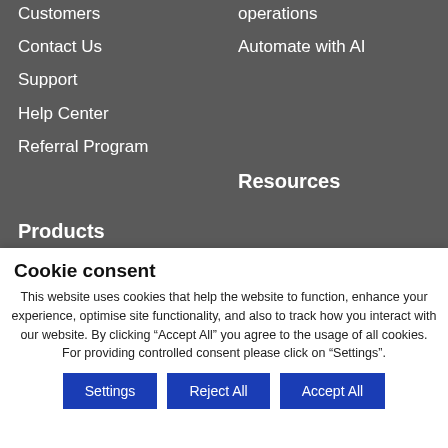Customers
Contact Us
Support
Help Center
Referral Program
operations
Automate with AI
Products
Resources
Cookie consent
This website uses cookies that help the website to function, enhance your experience, optimise site functionality, and also to track how you interact with our website. By clicking “Accept All” you agree to the usage of all cookies. For providing controlled consent please click on “Settings”.
Settings
Reject All
Accept All